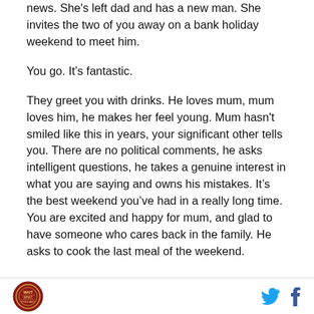news. She's left dad and has a new man. She invites the two of you away on a bank holiday weekend to meet him.
You go. It's fantastic.
They greet you with drinks. He loves mum, mum loves him, he makes her feel young. Mum hasn't smiled like this in years, your significant other tells you. There are no political comments, he asks intelligent questions, he takes a genuine interest in what you are saying and owns his mistakes. It's the best weekend you've had in a really long time. You are excited and happy for mum, and glad to have someone who cares back in the family. He asks to cook the last meal of the weekend.
[logo] [twitter] [facebook]